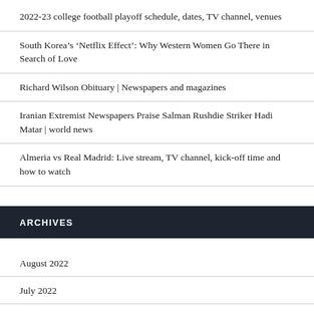2022-23 college football playoff schedule, dates, TV channel, venues
South Korea’s ‘Netflix Effect’: Why Western Women Go There in Search of Love
Richard Wilson Obituary | Newspapers and magazines
Iranian Extremist Newspapers Praise Salman Rushdie Striker Hadi Matar | world news
Almeria vs Real Madrid: Live stream, TV channel, kick-off time and how to watch
ARCHIVES
August 2022
July 2022